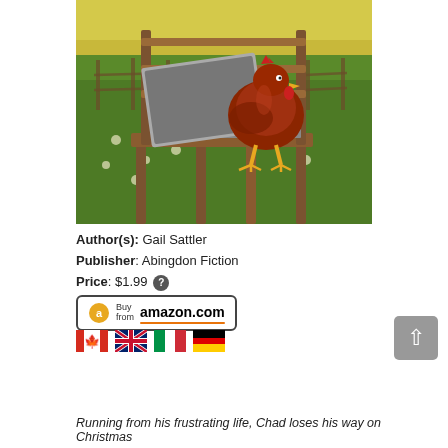[Figure (photo): A red chicken standing on a wooden chair next to an open laptop, in a green field with a fence and yellow sky in the background.]
Author(s): Gail Sattler
Publisher: Abingdon Fiction
Price: $1.99 ?
[Figure (other): Buy from amazon.com button with Amazon logo]
[Figure (other): Four country flag icons: Canada, UK, Italy, Germany]
Running from his frustrating life, Chad loses his way on Christmas